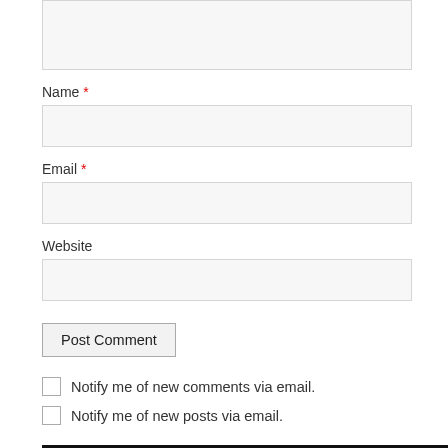Name *
Email *
Website
Post Comment
Notify me of new comments via email.
Notify me of new posts via email.
Living a Fl